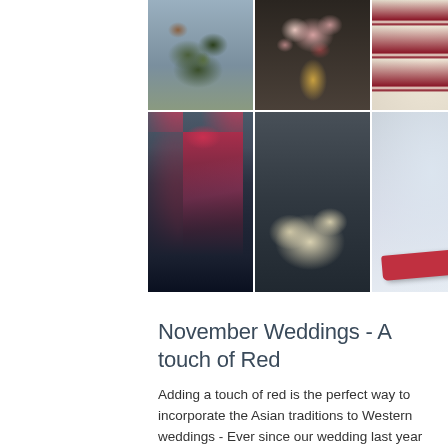[Figure (photo): A 3x2 photo collage of wedding elements with a touch of red: top row shows a boutonniere with greenery, a romantic bouquet of roses, and a tiered wedding cake with red ribbon bands; bottom row shows a woman in a red Chinese dress, a staircase decorated with flowers, and a bride's white dress with red high-heel shoes]
November Weddings - A touch of Red
Adding a touch of red is the perfect way to incorporate the Asian traditions to Western weddings - Ever since our wedding last year